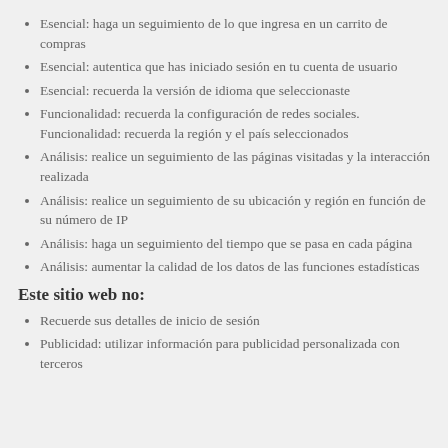Esencial: haga un seguimiento de lo que ingresa en un carrito de compras
Esencial: autentica que has iniciado sesión en tu cuenta de usuario
Esencial: recuerda la versión de idioma que seleccionaste
Funcionalidad: recuerda la configuración de redes sociales. Funcionalidad: recuerda la región y el país seleccionados
Análisis: realice un seguimiento de las páginas visitadas y la interacción realizada
Análisis: realice un seguimiento de su ubicación y región en función de su número de IP
Análisis: haga un seguimiento del tiempo que se pasa en cada página
Análisis: aumentar la calidad de los datos de las funciones estadísticas
Este sitio web no:
Recuerde sus detalles de inicio de sesión
Publicidad: utilizar información para publicidad personalizada con terceros